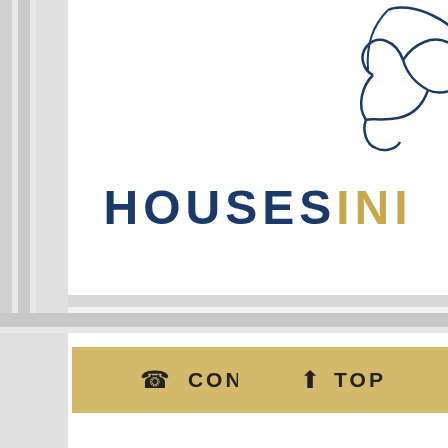[Figure (logo): HousesIN brand logo with bird/leaf icon above text reading HOUSES in blue and IN in gold]
[Figure (other): CONTACT US button with phone icon, gold/tan background]
[Figure (other): TOP button with up arrow icon, gold/tan background]